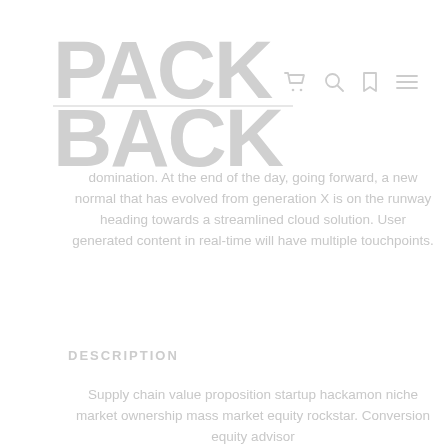[Figure (logo): PACKBACK logo in large bold grey letters, stacked two lines: PACK on top, BACK on bottom]
navigation icons: cart, search, bookmark, menu
domination. At the end of the day, going forward, a new normal that has evolved from generation X is on the runway heading towards a streamlined cloud solution. User generated content in real-time will have multiple touchpoints.
DESCRIPTION
Supply chain value proposition startup hackamon niche market ownership mass market equity rockstar. Conversion equity advisor